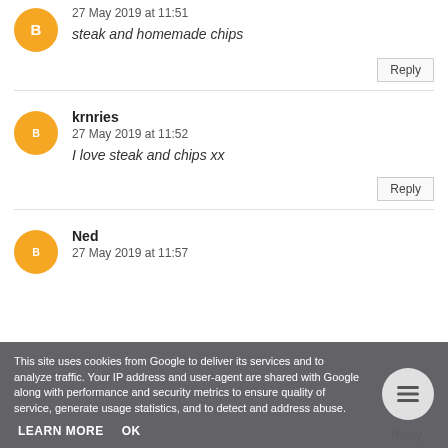27 May 2019 at 11:51
steak and homemade chips
Reply
krnries
27 May 2019 at 11:52
I love steak and chips xx
Reply
Ned
27 May 2019 at 11:57
This site uses cookies from Google to deliver its services and to analyze traffic. Your IP address and user-agent are shared with Google along with performance and security metrics to ensure quality of service, generate usage statistics, and to detect and address abuse.
LEARN MORE
OK
Reply